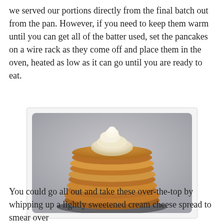we served our portions directly from the final batch out from the pan. However, if you need to keep them warm until you can get all of the batter used, set the pancakes on a wire rack as they come off and place them in the oven, heated as low as it can go until you are ready to eat.
[Figure (photo): A stack of golden-brown pancakes topped with a dollop of whipped cream cheese or butter, photographed on a white plate or surface.]
You could go all out and take these over-the-top by whipping up a lightly sweetened cream cheese spread to smear over